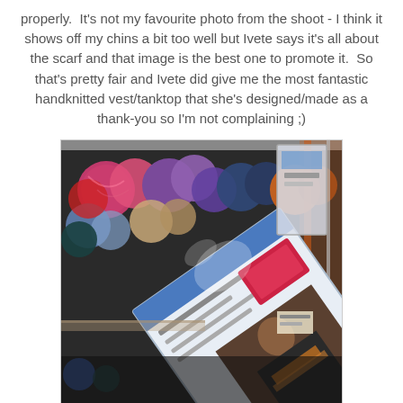properly.  It's not my favourite photo from the shoot - I think it shows off my chins a bit too well but Ivete says it's all about the scarf and that image is the best one to promote it.  So that's pretty fair and Ivete did give me the most fantastic handknitted vest/tanktop that she's designed/made as a thank-you so I'm not complaining ;)
[Figure (photo): Photo of colourful yarn balls on a shelf behind a product packaging box with a woman's image on it, displayed at an angle]